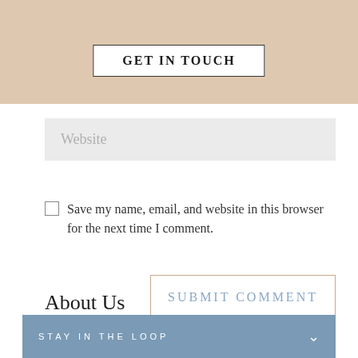GET IN TOUCH
Website
Save my name, email, and website in this browser for the next time I comment.
SUBMIT COMMENT
About Us
STAY IN THE LOOP